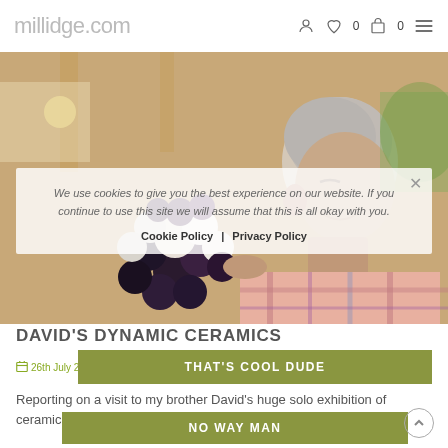millidge.com
[Figure (photo): Older man with gray hair smiling, looking at a ceramic sculpture made of spherical forms in white and dark purple/black, in a wooden-framed interior space.]
We use cookies to give you the best experience on our website. If you continue to use this site we will assume that this is all okay with you.
Cookie Policy | Privacy Policy
DAVID'S DYNAMIC CERAMICS
26th July 2021 / 0
THAT'S COOL DUDE
Reporting on a visit to my brother David's huge solo exhibition of ceramic sculptures at Hyde Hall, near Chelmsford....
NO WAY MAN